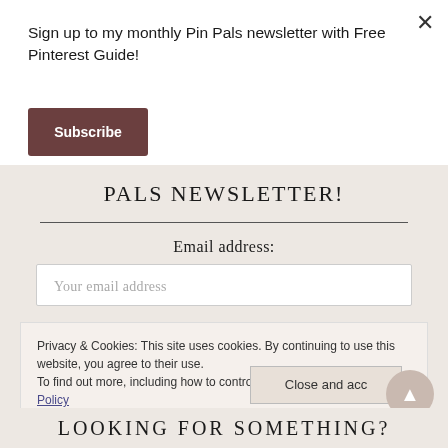Sign up to my monthly Pin Pals newsletter with Free Pinterest Guide!
Subscribe
PALS NEWSLETTER!
Email address:
Your email address
Privacy & Cookies: This site uses cookies. By continuing to use this website, you agree to their use.
To find out more, including how to control cookies, see here: Cookie Policy
Close and acc
LOOKING FOR SOMETHING?